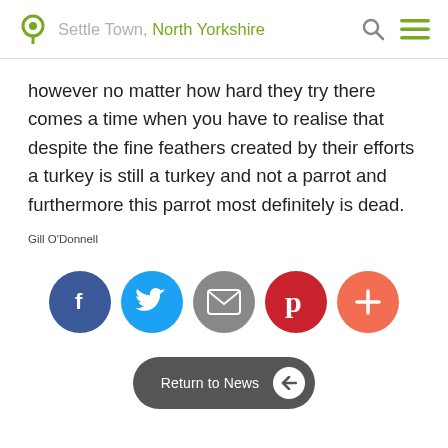Settle Town, North Yorkshire
however no matter how hard they try there comes a time when you have to realise that despite the fine feathers created by their efforts a turkey is still a turkey and not a parrot and furthermore this parrot most definitely is dead.
Gill O'Donnell
[Figure (infographic): Social sharing buttons: Facebook (blue), Twitter (light blue), Email (grey), Pinterest (dark red), Plus/More (orange-red)]
[Figure (other): Return to News button with left arrow]